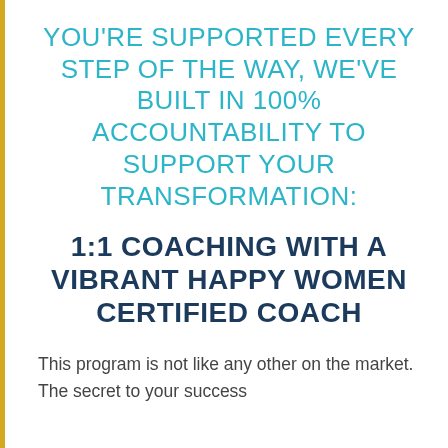YOU'RE SUPPORTED EVERY STEP OF THE WAY, WE'VE BUILT IN 100% ACCOUNTABILITY TO SUPPORT YOUR TRANSFORMATION:
1:1 COACHING WITH A VIBRANT HAPPY WOMEN CERTIFIED COACH
This program is not like any other on the market. The secret to your success